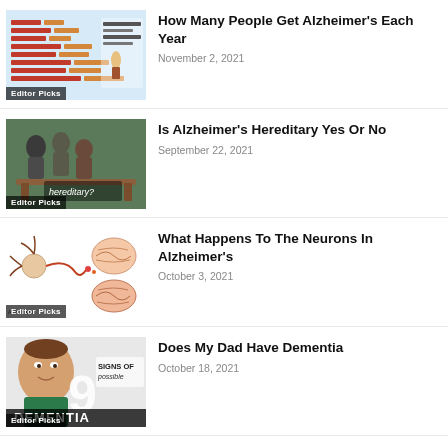[Figure (infographic): Thumbnail image showing a chart about worldwide Alzheimer's prevalence between 2015 and 2050 with horizontal bar patterns in orange/red tones on light blue background, with 'Editor Picks' badge]
How Many People Get Alzheimer's Each Year
November 2, 2021
[Figure (photo): Photo of elderly people outdoors, with text overlay 'hereditary?' and 'Editor Picks' badge]
Is Alzheimer's Hereditary Yes Or No
September 22, 2021
[Figure (illustration): Medical illustration showing neuron diagrams and brain cross-sections related to Alzheimer's disease, with 'Editor Picks' badge]
What Happens To The Neurons In Alzheimer's
October 3, 2021
[Figure (infographic): Infographic with a man's face, large number 9, text '9 Signs Of possible DEMENTIA' with 'Editor Picks' badge]
Does My Dad Have Dementia
October 18, 2021